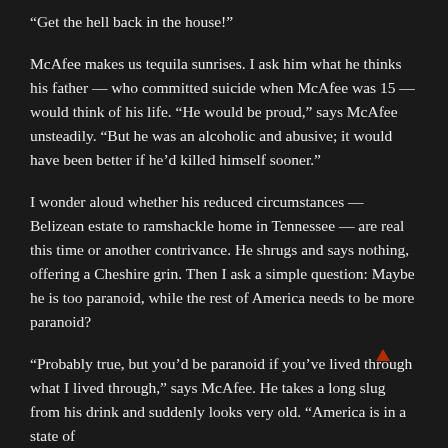“Get the hell back in the house!”
McAfee makes us tequila sunrises. I ask him what he thinks his father — who committed suicide when McAfee was 15 — would think of his life. “He would be proud,” says McAfee unsteadily. “But he was an alcoholic and abusive; it would have been better if he’d killed himself sooner.”
I wonder aloud whether his reduced circumstances — Belizean estate to ramshackle home in Tennessee — are real this time or another contrivance. He shrugs and says nothing, offering a Cheshire grin. Then I ask a simple question: Maybe he is too paranoid, while the rest of America needs to be more paranoid?
“Probably true, but you’d be paranoid if you’ve lived through what I lived through,” says McAfee. He takes a long slug from his drink and suddenly looks very old. “America is in a state of